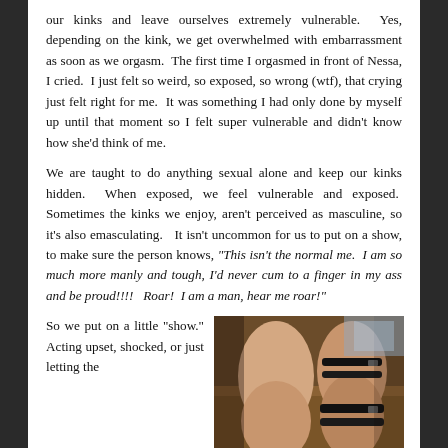our kinks and leave ourselves extremely vulnerable.  Yes, depending on the kink, we get overwhelmed with embarrassment as soon as we orgasm.  The first time I orgasmed in front of Nessa, I cried.  I just felt so weird, so exposed, so wrong (wtf), that crying just felt right for me.  It was something I had only done by myself up until that moment so I felt super vulnerable and didn't know how she'd think of me.
We are taught to do anything sexual alone and keep our kinks hidden.  When exposed, we feel vulnerable and exposed.  Sometimes the kinks we enjoy, aren't perceived as masculine, so it's also emasculating.   It isn't uncommon for us to put on a show, to make sure the person knows, "This isn't the normal me.  I am so much more manly and tough, I'd never cum to a finger in my ass and be proud!!!!   Roar!  I am a man, hear me roar!"
So we put on a little “show.” Acting upset, shocked, or just letting the
[Figure (photo): Two people from behind in an intimate/BDSM context, one wearing restraints, photographed against a leather couch background.]